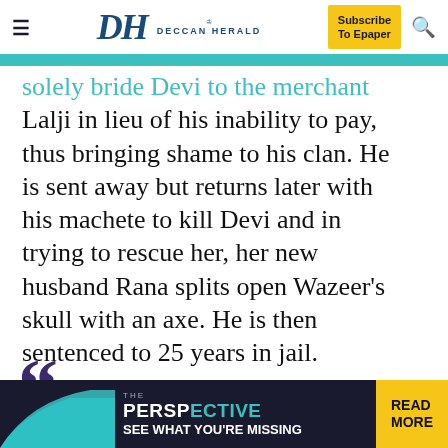DH DECCAN HERALD | Subscribe To Epaper
solely bride Devi to the merchant Lalji in lieu of his inability to pay, thus bringing shame to his clan. He is sent away but returns later with his machete to kill Devi and in trying to rescue her, her new husband Rana splits open Wazeer's skull with an axe. He is then sentenced to 25 years in jail.
Bikram stands for elections, wins and is offered a plum post if he defects. The enticement is so heavy that he cannot resist. His rise to power coincides with the
[Figure (advertisement): THE PERSPECTIVE advertisement banner - SEE WHAT YOU'RE MISSING - READ MORE]